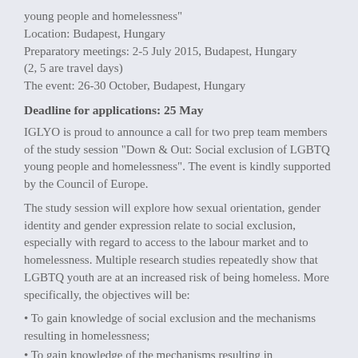young people and homelessness"
Location: Budapest, Hungary
Preparatory meetings: 2-5 July 2015, Budapest, Hungary
(2, 5 are travel days)
The event: 26-30 October, Budapest, Hungary
Deadline for applications: 25 May
IGLYO is proud to announce a call for two prep team members of the study session “Down & Out: Social exclusion of LGBTQ young people and homelessness”. The event is kindly supported by the Council of Europe.
The study session will explore how sexual orientation, gender identity and gender expression relate to social exclusion, especially with regard to access to the labour market and to homelessness. Multiple research studies repeatedly show that LGBTQ youth are at an increased risk of being homeless. More specifically, the objectives will be:
• To gain knowledge of social exclusion and the mechanisms resulting in homelessness;
• To gain knowledge of the mechanisms resulting in homelessness.